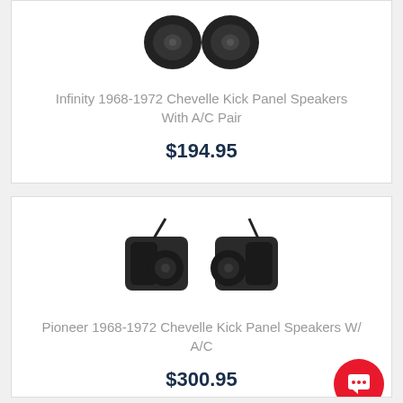[Figure (photo): Infinity kick panel speakers pair for 1968-1972 Chevelle with A/C, two black speaker housing units shown side by side]
Infinity 1968-1972 Chevelle Kick Panel Speakers With A/C Pair
$194.95
[Figure (photo): Pioneer kick panel speakers pair for 1968-1972 Chevelle with A/C, two black angular speaker housing units with brackets shown side by side]
Pioneer 1968-1972 Chevelle Kick Panel Speakers W/ A/C
$300.95